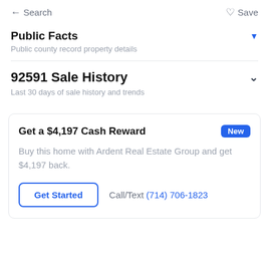← Search   ♡ Save
Public Facts
Public county record property details
92591 Sale History
Last 30 days of sale history and trends
Get a $4,197 Cash Reward
Buy this home with Ardent Real Estate Group and get $4,197 back.
Get Started   Call/Text (714) 706-1823